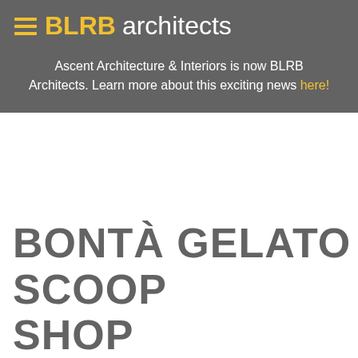BLRB architects
Ascent Architecture & Interiors is now BLRB Architects. Learn more about this exciting news here!
BONTÀ GELATO SCOOP SHOP